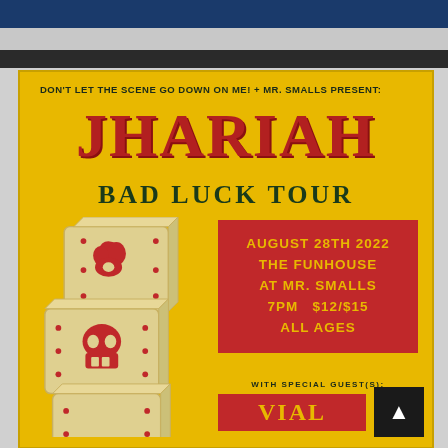[Figure (illustration): Concert poster for Jhariah Bad Luck Tour. Yellow/golden background with stacked dice featuring red skull/monster logos. Red event info box showing August 28th 2022, The Funhouse at Mr. Smalls, 7PM $12/$15, All Ages. Special guest VIAL shown at bottom.]
DON'T LET THE SCENE GO DOWN ON ME! + MR. SMALLS PRESENT:
JHARIAH
BAD LUCK TOUR
AUGUST 28TH 2022
THE FUNHOUSE
AT MR. SMALLS
7PM   $12/$15
ALL AGES
WITH SPECIAL GUEST(S):
VIAL